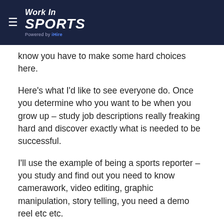Work In SPORTS — Powered by iHire
know you have to make some hard choices here.
Here's what I'd like to see everyone do. Once you determine who you want to be when you grow up – study job descriptions really freaking hard and discover exactly what is needed to be successful.
I'll use the example of being a sports reporter – you study and find out you need to know camerawork, video editing, graphic manipulation, story telling, you need a demo reel etc etc.
Now when things come up on your schedule you ask yourself the question – should I be president of this club, or should I spend that time watching YouTube videos and learning Final Cut Pro?
Should I volunteer at my fraternity event, or should I take an online course on Photoshop.